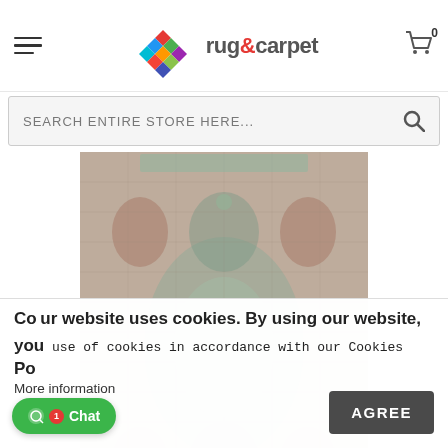rug&carpet — navigation header with hamburger menu and cart icon (0 items)
SEARCH ENTIRE STORE HERE...
[Figure (photo): Product image of a vintage/distressed style area rug with muted green, brown, and beige tones showing a floral/medallion pattern]
× Welcome to our site, if you need help simply reply to this message, we are ready to help. Customer Support just now
Cookies on our website uses cookies. By using our website, you use of cookies in accordance with our Cookies Policy More information
AGREE
● Chat 1